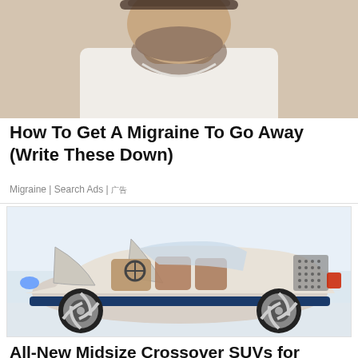[Figure (photo): A bearded man in a white sleeveless shirt, seen from chest up, holding his head — only the lower portion of his face and torso are visible at the top of the frame.]
How To Get A Migraine To Go Away (Write These Down)
Migraine | Search Ads | 广告
[Figure (photo): A futuristic concept SUV crossover with all four doors open wide showing luxurious interior seating, large alloy wheels with swirl design, blue accent trim along the bottom, and a digital/perforated panel on the rear quarter. The car is shown outdoors on a light surface.]
All-New Midsize Crossover SUVs for Seniors